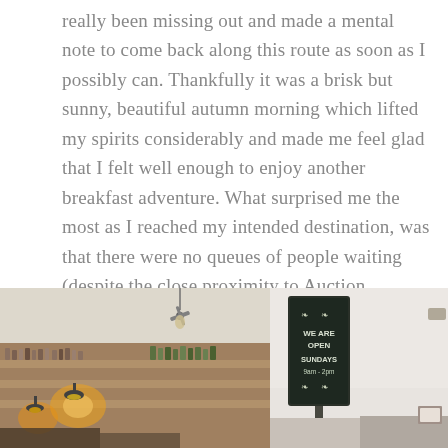really been missing out and made a mental note to come back along this route as soon as I possibly can. Thankfully it was a brisk but sunny, beautiful autumn morning which lifted my spirits considerably and made me feel glad that I felt well enough to enjoy another breakfast adventure. What surprised me the most as I reached my intended destination, was that there were no queues of people waiting (despite the close proximity to Auction Rooms) and once inside, there were only five tables, of which three were empty, so it seemed that my prayers to find somewhere quiet and peaceful had come true.
[Figure (photo): Interior of a cafe showing shelves with products, warm pendant lighting, and a ceiling fan.]
[Figure (photo): A chalkboard sign reading 'WE ARE OPEN SUNDAYS 9am - 2pm' with leaf decorations, against a white wall.]